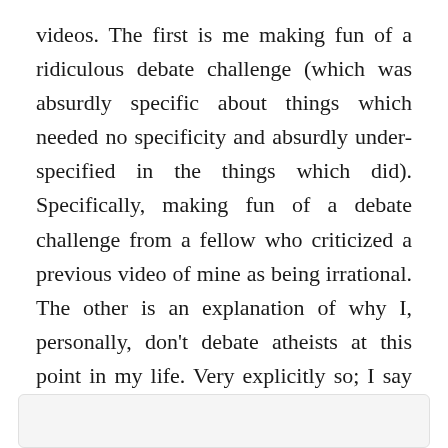videos. The first is me making fun of a ridiculous debate challenge (which was absurdly specific about things which needed no specificity and absurdly under-specified in the things which did). Specifically, making fun of a debate challenge from a fellow who criticized a previous video of mine as being irrational. The other is an explanation of why I, personally, don’t debate atheists at this point in my life. Very explicitly so; I say that in the first minute. And yet I got comments from people critiquing it as if it were one side of a debate.
I also got a tweet from “Mr Oz Atheist” snarking,
[Figure (other): Empty light gray box at the bottom of the page, representing a tweet embed or screenshot (content not visible)]